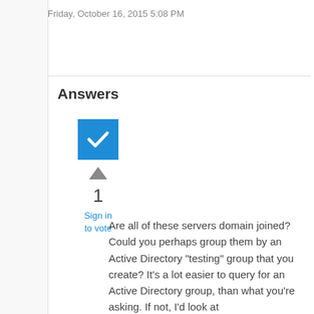Friday, October 16, 2015 5:08 PM
Answers
[Figure (other): Accepted answer checkmark icon — blue square with white checkmark]
[Figure (other): Upvote arrow triangle icon]
1
Sign in to vote
Are all of these servers domain joined? Could you perhaps group them by an Active Directory "testing" group that you create? It's a lot easier to query for an Active Directory group, than what you're asking. If not, I'd look at